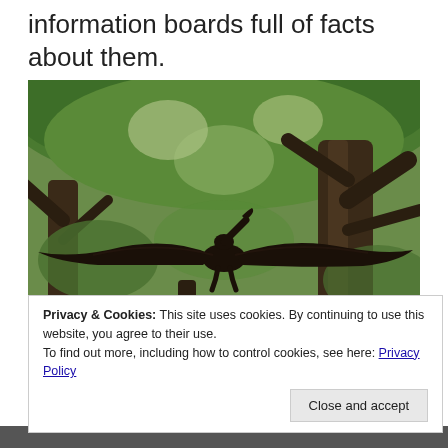information boards full of facts about them.
[Figure (photo): A pterosaur/dinosaur model with wide wings spread, photographed from below against a backdrop of tall green trees with large branches.]
Privacy & Cookies: This site uses cookies. By continuing to use this website, you agree to their use.
To find out more, including how to control cookies, see here: Privacy Policy
Close and accept